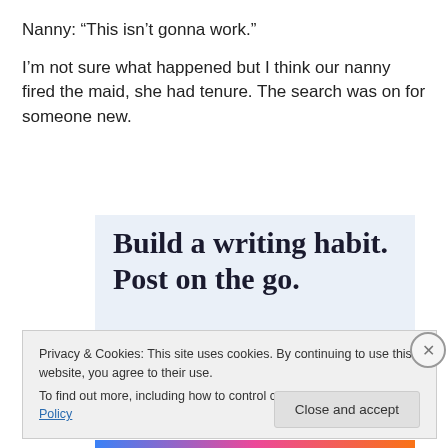Nanny:  “This isn’t gonna work.”
I’m not sure what happened but I think our nanny fired the maid, she had tenure.  The search was on for someone new.
[Figure (screenshot): WordPress app advertisement banner: 'Build a writing habit. Post on the go.' with GET THE APP link and WordPress logo]
Privacy & Cookies: This site uses cookies. By continuing to use this website, you agree to their use.
To find out more, including how to control cookies, see here: Cookie Policy